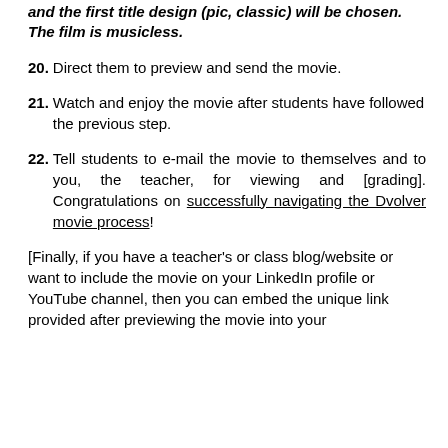and the first title design (pic, classic) will be chosen. The film is musicless.
20. Direct them to preview and send the movie.
21. Watch and enjoy the movie after students have followed the previous step.
22. Tell students to e-mail the movie to themselves and to you, the teacher, for viewing and [grading]. Congratulations on successfully navigating the Dvolver movie process!
[Finally, if you have a teacher’s or class blog/website or want to include the movie on your LinkedIn profile or YouTube channel, then you can embed the unique link provided after previewing the movie into your preferred website for more accessibility.]